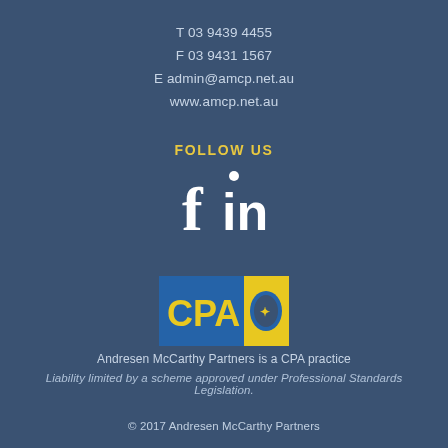T 03 9439 4455
F 03 9431 1567
E admin@amcp.net.au
www.amcp.net.au
FOLLOW US
[Figure (illustration): Facebook 'f' icon and LinkedIn 'in' icon in white on dark blue background]
[Figure (logo): CPA Australia logo — blue rectangle with yellow 'CPA' text and gold crest on yellow square]
Andresen McCarthy Partners is a CPA practice
Liability limited by a scheme approved under Professional Standards Legislation.
© 2017 Andresen McCarthy Partners